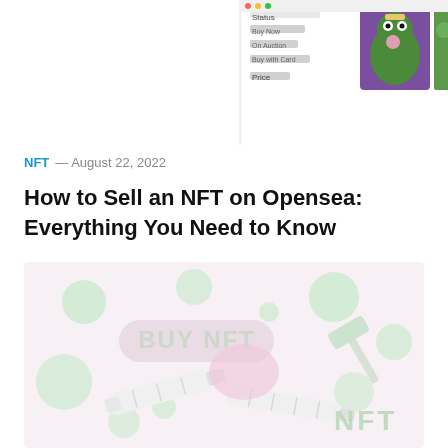[Figure (screenshot): Partial screenshot of OpenSea NFT marketplace interface showing filter options (Status: Buy Now, On Auction, Buy with Card) and NFT artwork thumbnails including a cartoon frog character]
NFT — August 22, 2022
How to Sell an NFT on Opensea: Everything You Need to Know
[Figure (photo): Hero image with light pink/white background showing 3D rendered NFT-themed objects including white cylindrical tubes and green bubble shapes with 'BUY NFT' text and 'NFT' text visible]